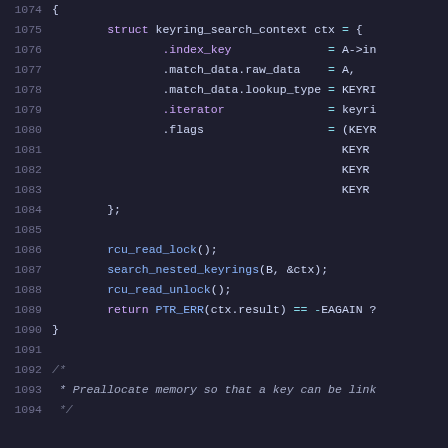Source code listing, lines 1074-1094, C kernel code with syntax highlighting showing keyring_search_context struct initialization and related function calls.